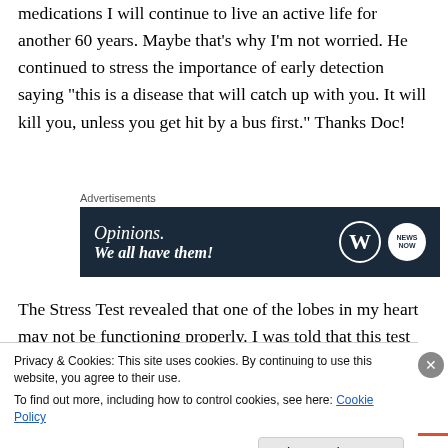medications I will continue to live an active life for another 60 years. Maybe that's why I'm not worried. He continued to stress the importance of early detection saying "this is a disease that will catch up with you. It will kill you, unless you get hit by a bus first." Thanks Doc!
[Figure (screenshot): Advertisement banner showing 'Opinions. We all have them!' on a dark navy background with WordPress and news logos]
The Stress Test revealed that one of the lobes in my heart may not be functioning properly. I was told that this test
Privacy & Cookies: This site uses cookies. By continuing to use this website, you agree to their use.
To find out more, including how to control cookies, see here: Cookie Policy